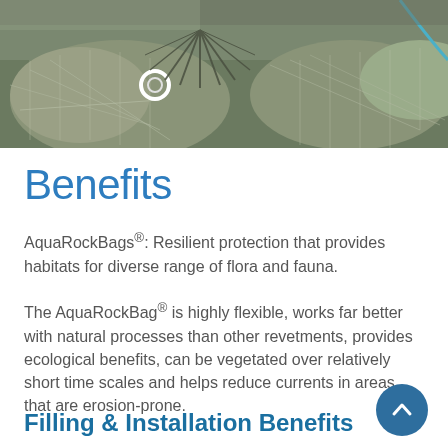[Figure (photo): Aerial or close-up view of AquaRockBags mesh netting structures placed on a riverbank or shoreline for erosion control, showing the grey/green mesh fabric with a white ring connector visible.]
Benefits
AquaRockBags®: Resilient protection that provides habitats for diverse range of flora and fauna.
The AquaRockBag® is highly flexible, works far better with natural processes than other revetments, provides ecological benefits, can be vegetated over relatively short time scales and helps reduce currents in areas that are erosion-prone.
Filling & Installation Benefits